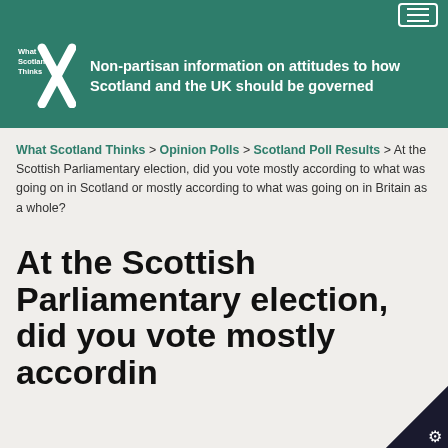Navigation bar with hamburger menu
[Figure (logo): What Scotland Thinks logo — white text on green background with a large X]
Non-partisan information on attitudes to how Scotland and the UK should be governed
What Scotland Thinks > Opinion Polls > Scotland Poll Results > At the Scottish Parliamentary election, did you vote mostly according to what was going on in Scotland or mostly according to what was going on in Britain as a whole?
At the Scottish Parliamentary election, did you vote mostly accordin…